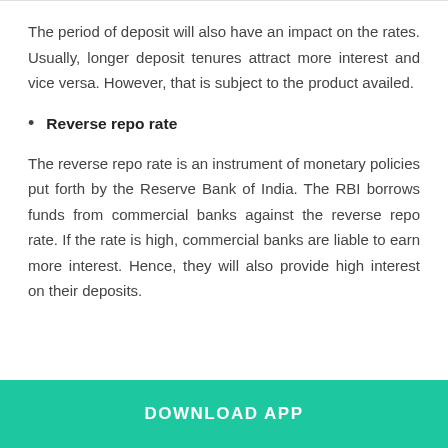The period of deposit will also have an impact on the rates. Usually, longer deposit tenures attract more interest and vice versa. However, that is subject to the product availed.
Reverse repo rate
The reverse repo rate is an instrument of monetary policies put forth by the Reserve Bank of India. The RBI borrows funds from commercial banks against the reverse repo rate. If the rate is high, commercial banks are liable to earn more interest. Hence, they will also provide high interest on their deposits.
DOWNLOAD APP